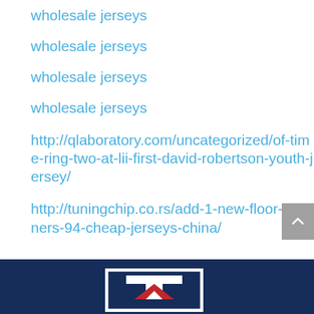wholesale jerseys
wholesale jerseys
wholesale jerseys
wholesale jerseys
http://qlaboratory.com/uncategorized/of-time-ring-two-at-lii-first-david-robertson-youth-jersey/
http://tuningchip.co.rs/add-1-new-floor-cleaners-94-cheap-jerseys-china/
[Figure (logo): Logo with letter T inside a bordered box on dark navy background, with a red triangle/chevron shape]